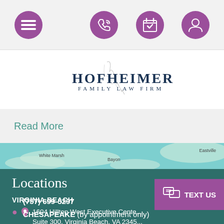[Figure (screenshot): Mobile navigation bar with hamburger menu icon, phone icon, calendar icon, and profile icon — all in purple circular buttons on a light gray background]
[Figure (logo): Hofheimer Family Law Firm logo with stylized H monogram in gray and dark navy text reading HOFHEIMER / FAMILY LAW FIRM]
Read More
[Figure (map): Teal-colored map showing areas including White Marsh, Bayon, Eastville geographic region]
Locations
VIRGINIA BEACH
1604 Hilltop West Executive Center, Suite 300, Virginia Beach, VA 2345...
(757) 699-5297
CHESAPEAKE (by appointment only)